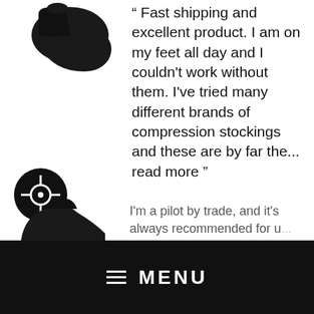[Figure (photo): Black compression sock product image, partial view, top-left of page]
“ Fast shipping and excellent product. I am on my feet all day and I couldn't work without them. I've tried many different brands of compression stockings and these are by far the...  read more ”
Raymond P. ✓ Verified Buyer Performance Compression Socks - Black Knee High - Men's 10-13 / 1-Pack
[Figure (logo): Dark circular icon with a target/crosshair symbol inside, bottom-left area]
[Figure (screenshot): Black navigation bar with hamburger menu icon and MENU text]
[Figure (photo): Black compression sock product image, partial view, bottom-left]
I'm a pilot by trade, and it's always recommended for u...